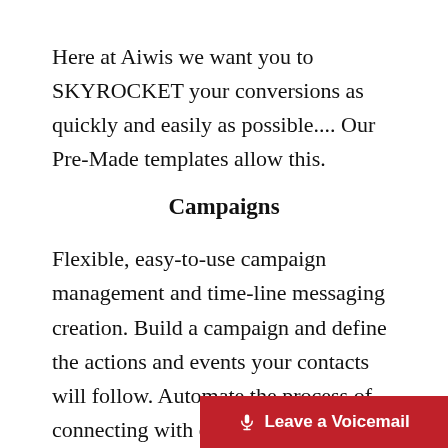Here at Aiwis we want you to SKYROCKET your conversions as quickly and easily as possible.... Our Pre-Made templates allow this.
Campaigns
Flexible, easy-to-use campaign management and time-line messaging creation. Build a campaign and define the actions and events your contacts will follow. Automate the process of connecting with contacts and nurturing them along the sales funnel or throu...